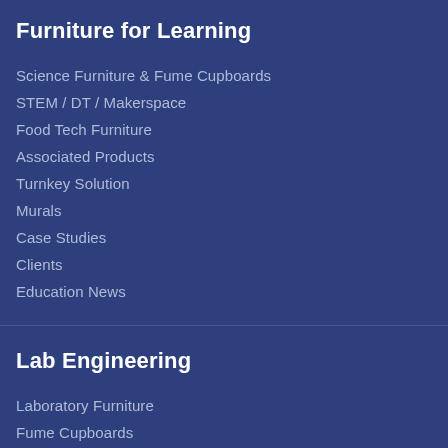Furniture for Learning
Science Furniture & Fume Cupboards
STEM / DT / Makerspace
Food Tech Furniture
Associated Products
Turnkey Solution
Murals
Case Studies
Clients
Education News
Lab Engineering
Laboratory Furniture
Fume Cupboards